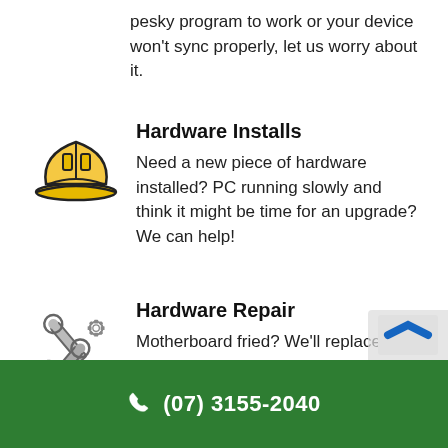pesky program to work or your device won't sync properly, let us worry about it.
[Figure (illustration): Yellow construction hard hat icon with black outlines]
Hardware Installs
Need a new piece of hardware installed? PC running slowly and think it might be time for an upgrade? We can help!
[Figure (illustration): Grey wrench and gear/bolt icon for hardware repair]
Hardware Repair
Motherboard fried? We'll replace it. Fa…
(07) 3155-2040